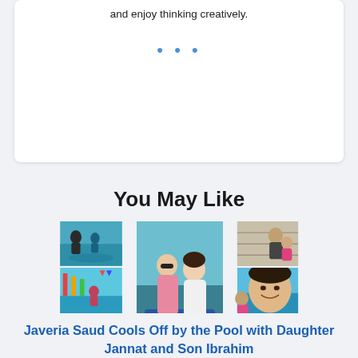and enjoy thinking creatively.
...
You May Like
[Figure (photo): Collage of family photos by a pool and water park — Javeria Saud with daughter Jannat and son Ibrahim]
Javeria Saud Cools Off by the Pool with Daughter Jannat and Son Ibrahim